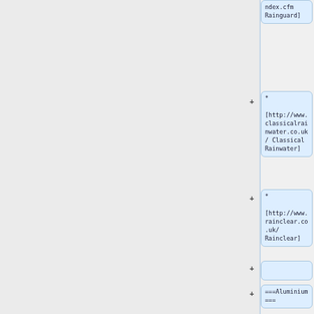* ndex.cfm Rainguard]
* [http://www.classicalrainwater.co.uk/ Classical Rainwater]
* [http://www.rainclear.co.uk/ Rainclear]
===Aluminium===
* [http://www.